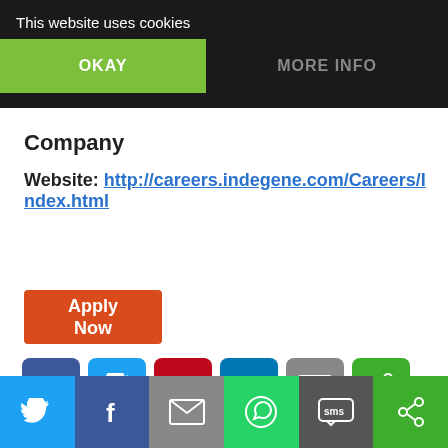This website uses cookies
OKAY
MORE INFO
Company
Website: http://careers.indegene.com/Careers/Index.html
Apply Now
[Figure (infographic): Social share icon buttons: Facebook, Twitter, Pinterest, LinkedIn, Email, Share]
[Figure (infographic): Bottom share bar: Twitter, Facebook, Email, WhatsApp, SMS, Share]